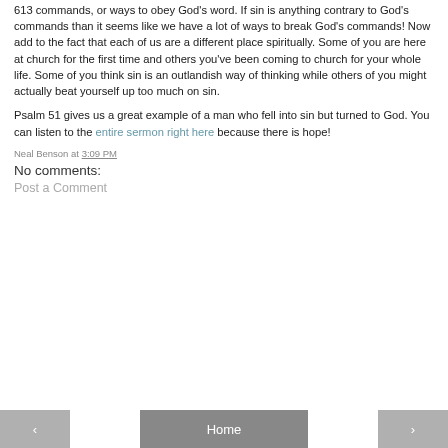613 commands, or ways to obey God's word. If sin is anything contrary to God's commands than it seems like we have a lot of ways to break God's commands! Now add to the fact that each of us are a different place spiritually. Some of you are here at church for the first time and others you've been coming to church for your whole life. Some of you think sin is an outlandish way of thinking while others of you might actually beat yourself up too much on sin.

Psalm 51 gives us a great example of a man who fell into sin but turned to God. You can listen to the entire sermon right here because there is hope!
Neal Benson at 3:09 PM
No comments:
Post a Comment
‹  Home  ›